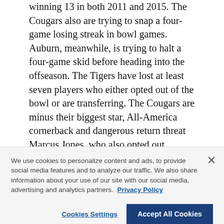winning 13 in both 2011 and 2015. The Cougars also are trying to snap a four-game losing streak in bowl games. Auburn, meanwhile, is trying to halt a four-game skid before heading into the offseason. The Tigers have lost at least seven players who either opted out of the bowl or are transferring. The Cougars are minus their biggest star, All-America cornerback and dangerous return threat Marcus Jones, who also opted out.
KEY MATCHUP
Auburn's offensive line. which is minus three starters.
We use cookies to personalize content and ads, to provide social media features and to analyze our traffic. We also share information about your use of our site with our social media, advertising and analytics partners. Privacy Policy